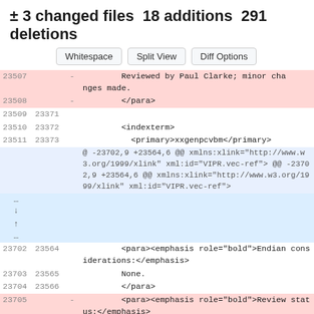± 3 changed files 18 additions 291 deletions
Whitespace | Split View | Diff Options
[Figure (screenshot): Code diff view showing deleted and unchanged lines of XML source code, including lines 23507-23511 (deleted lines with reviewer note and para/indexterm/primary elements), a hunk header, expand controls, and lines 23702-23707 with para emphasis elements about Endian considerations and review status.]